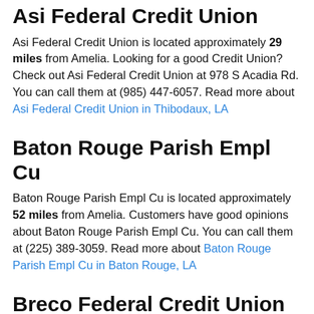Asi Federal Credit Union
Asi Federal Credit Union is located approximately 29 miles from Amelia. Looking for a good Credit Union? Check out Asi Federal Credit Union at 978 S Acadia Rd. You can call them at (985) 447-6057. Read more about Asi Federal Credit Union in Thibodaux, LA
Baton Rouge Parish Empl Cu
Baton Rouge Parish Empl Cu is located approximately 52 miles from Amelia. Customers have good opinions about Baton Rouge Parish Empl Cu. You can call them at (225) 389-3059. Read more about Baton Rouge Parish Empl Cu in Baton Rouge, LA
Breco Federal Credit Union